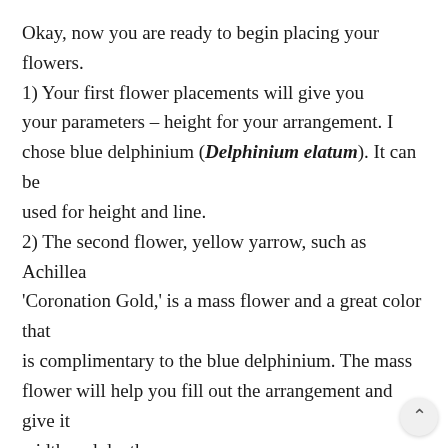Okay, now you are ready to begin placing your flowers. 1) Your first flower placements will give you your parameters – height for your arrangement. I chose blue delphinium (Delphinium elatum). It can be used for height and line. 2) The second flower, yellow yarrow, such as Achillea 'Coronation Gold,' is a mass flower and a great color that is complimentary to the blue delphinium. The mass flower will help you fill out the arrangement and give it width and depth. 3) The third flower is line and movement. This white Solomon's seal (Polygonatum biflorum) has a lovely curve and interesting cascading flowers and leaves. It creates interest and energy for your arrangement. With the ...